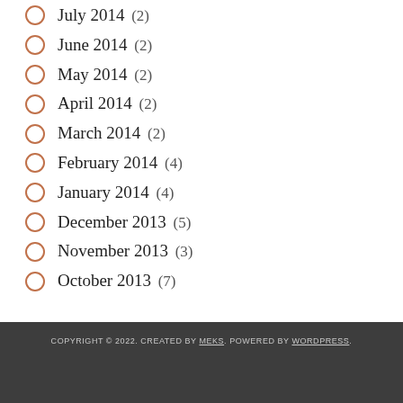July 2014 (2)
June 2014 (2)
May 2014 (2)
April 2014 (2)
March 2014 (2)
February 2014 (4)
January 2014 (4)
December 2013 (5)
November 2013 (3)
October 2013 (7)
COPYRIGHT © 2022. CREATED BY MEKS. POWERED BY WORDPRESS.